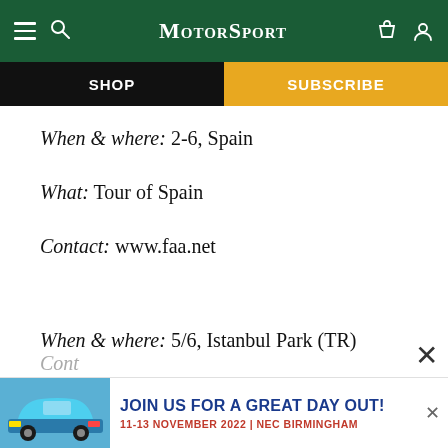MotorSport
SHOP | SUBSCRIBE
When & where: 2-6, Spain
What: Tour of Spain
Contact: www.faa.net
When & where: 5/6, Istanbul Park (TR)
What: Classic Endurance Racing Series
Cont...
[Figure (screenshot): Advertisement banner: JOIN US FOR A GREAT DAY OUT! 11-13 NOVEMBER 2022 | NEC BIRMINGHAM, with a blue Porsche 911 car image on the left]